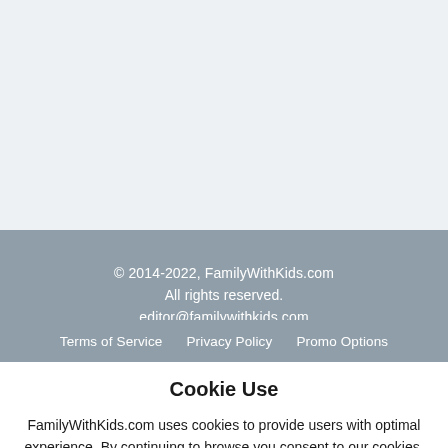© 2014-2022, FamilyWithKids.com
All rights reserved.
editor@familywithkids.com
Terms of Service   Privacy Policy   Promo Options
Cookie Use
FamilyWithKids.com uses cookies to provide users with optimal experience. By continuing to browse you consent to our cookies.